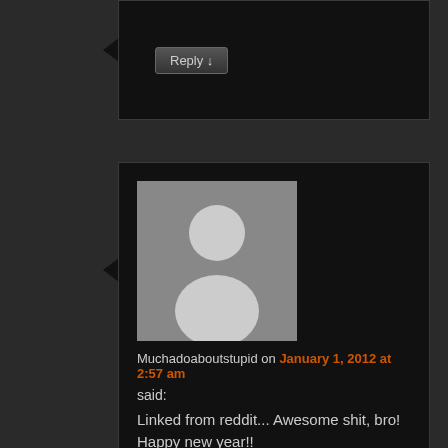Reply ↓
[Figure (illustration): Default user avatar - grey silhouette of a person on grey background]
Muchadoaboutstupid on January 1, 2012 at 2:57 am
said:
Linked from reddit... Awesome shit, bro! Happy new year!!
Reply ↓
[Figure (illustration): Default user avatar - grey silhouette of a person on grey background]
JD Hoflin on January 1, 2012 at 3:25 am said: